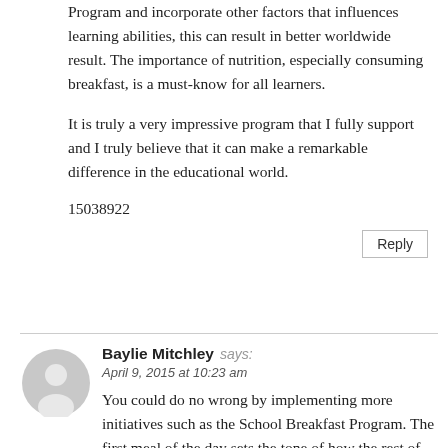Program and incorporate other factors that influences learning abilities, this can result in better worldwide result. The importance of nutrition, especially consuming breakfast, is a must-know for all learners.
It is truly a very impressive program that I fully support and I truly believe that it can make a remarkable difference in the educational world.
15038922
Reply
Baylie Mitchley says: April 9, 2015 at 10:23 am
You could do no wrong by implementing more initiatives such as the School Breakfast Program. The first meal of the day sets the tone of how the rest of the day, academically, is going